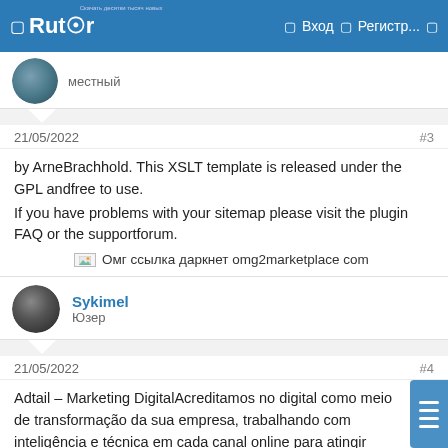Rutor — Вход — Регистр...
местный
21/05/2022   #3
by ArneBrachhold. This XSLT template is released under the GPL andfree to use.
If you have problems with your sitemap please visit the plugin FAQ or the supportforum.
[broken image: Омг ссылка даркнет omg2marketplace com]
Sykimel
Юзер
21/05/2022   #4
Adtail – Marketing DigitalAcreditamos no digital como meio de transformação da sua empresa, trabalhando com inteligência e técnica em cada canal online para atingir todas as metas. Nosso time é formado por profissionais especializados e